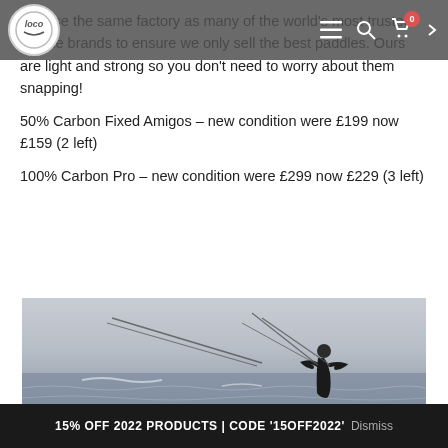Loco navigation bar with logo, menu, search, cart (0)
We use the same factory as many of the world's most trusted paddle brands to ensure we only sell the best paddles. Ours are light and strong so you don't need to worry about them snapping!
50% Carbon Fixed Amigos – new condition were £199 now £159 (2 left)
100% Carbon Pro – new condition were £299 now £229 (3 left)
[Figure (photo): Person kitesurfing on choppy grey water, holding kite bar with kite lines visible, wearing dark wetsuit, overcast sky]
15% OFF 2022 PRODUCTS | CODE '15OFF2022' Dismiss